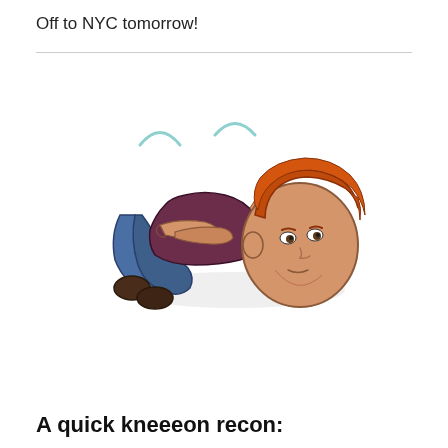Off to NYC tomorrow!
[Figure (illustration): Bitmoji cartoon illustration of a red-haired person lying on their back with knees pulled up, arms crossed over chest, with motion lines above suggesting rocking or rolling. The character wears a dark maroon top and blue jeans with dark shoes.]
A quick kneeeon recon: